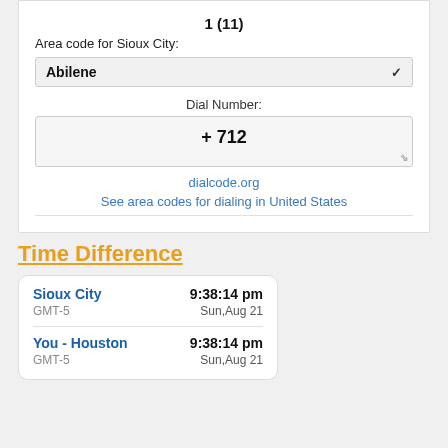Area code for Sioux City:
Abilene
Dial Number:
+ 712
dialcode.org
See area codes for dialing in United States
Time Difference
| City | Time | GMT | Date |
| --- | --- | --- | --- |
| Sioux City | 9:38:14 pm | GMT-5 | Sun,Aug 21 |
| You - Houston | 9:38:14 pm | GMT-5 | Sun,Aug 21 |